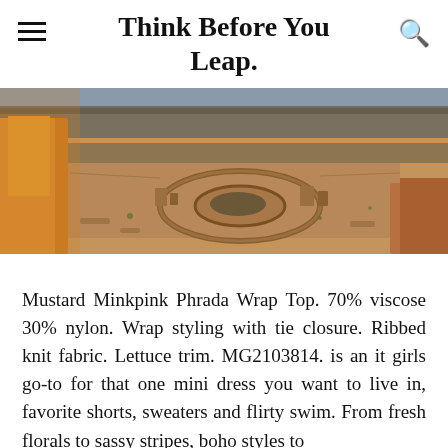Think Before You Leap.
[Figure (photo): Aerial or wide-angle landscape photograph of ancient ruins in a desert setting, showing circular stone foundation structures surrounded by sandy terrain with rocky formations on the left side, photographed in warm golden light.]
Mustard Minkpink Phrada Wrap Top. 70% viscose 30% nylon. Wrap styling with tie closure. Ribbed knit fabric. Lettuce trim. MG2103814. is an it girls go-to for that one mini dress you want to live in, favorite shorts, sweaters and flirty swim. From fresh florals to sassy stripes, boho styles to